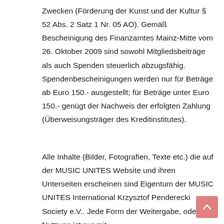Zwecken (Förderung der Kunst und der Kultur § 52 Abs. 2 Satz 1 Nr. 05 AO). Gemäß Bescheinigung des Finanzamtes Mainz-Mitte vom 26. Oktober 2009 sind sowohl Mitgliedsbeiträge als auch Spenden steuerlich abzugsfähig. Spendenbescheinigungen werden nur für Beträge ab Euro 150.- ausgestellt; für Beträge unter Euro 150.- genügt der Nachweis der erfolgten Zahlung (Überweisungsträger des Kreditinstitutes).
Alle Inhalte (Bilder, Fotografien, Texte etc.) die auf der MUSIC UNITES Website und ihren Unterseiten erscheinen sind Eigentum der MUSIC UNITES International Krzysztof Penderecki Society e.V.. Jede Form der Weitergabe, oder Nutzung ist nur mit ausdrücklicher schriftlicher Genehmigung von…